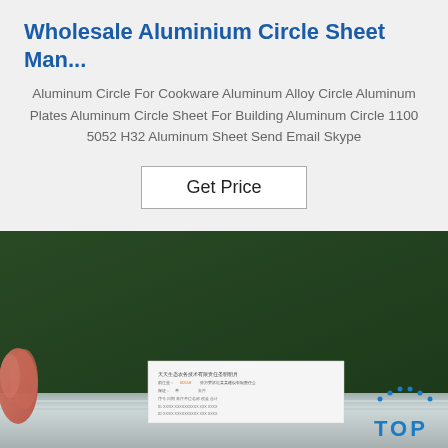Wholesale Aluminium Circle Sheet Man...
Aluminum Circle For Cookware Aluminum Alloy Circle Aluminum Plates Aluminum Circle Sheet For Building Aluminum Circle 1100 5052 H32 Aluminum Sheet Send Email Skype
Get Price
[Figure (photo): Photo showing a dark green surface (possibly an aluminum sheet or plate) with a white label/document placed on top near a metallic aluminum bar at the bottom. A hand with fingers is visible on the left edge. A 'TOP' watermark logo appears in the bottom right corner.]